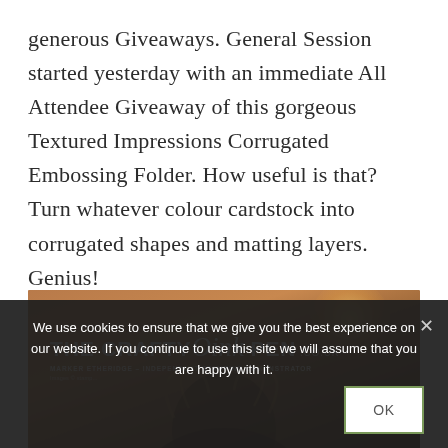generous Giveaways. General Session started yesterday with an immediate All Attendee Giveaway of this gorgeous Textured Impressions Corrugated Embossing Folder. How useful is that? Turn whatever colour cardstock into corrugated shapes and matting layers. Genius!
[Figure (photo): Photo banner for 'The Crafty Oink Pen' website showing a person's head partially visible below a branded header overlay on a warm brown/orange background with a light glow effect. Text reads: 'THE CRAFTY Oink PEN .co.uk' and 'MARKER ETHERIDGE - INDEPENDENT STAMPING DEMONSTRATOR']
We use cookies to ensure that we give you the best experience on our website. If you continue to use this site we will assume that you are happy with it.